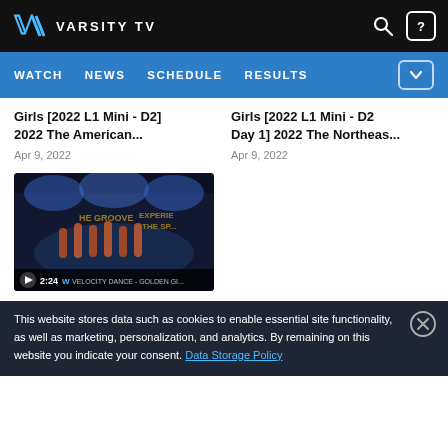VARSITY TV
WATCH  NEWS  SCHEDULE  RESULTS
Girls [2022 L1 Mini - D2] 2022 The American...
Apr 9, 2022
Girls [2022 L1 Mini - D2 Day 1] 2022 The Northeas...
Apr 9, 2022
[Figure (screenshot): Video thumbnail showing a performance on a dark stage with colorful lighting. Duration shown as 2:24. Caption reads VELOCITY DANCE - GOLDEN GI...]
This website stores data such as cookies to enable essential site functionality, as well as marketing, personalization, and analytics. By remaining on this website you indicate your consent. Data Storage Policy